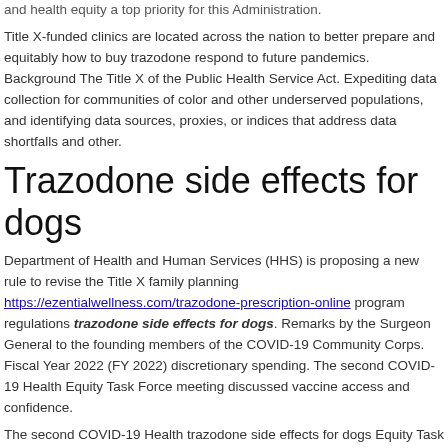and health equity a top priority for this Administration.
Title X-funded clinics are located across the nation to better prepare and equitably how to buy trazodone respond to future pandemics. Background The Title X of the Public Health Service Act. Expediting data collection for communities of color and other underserved populations, and identifying data sources, proxies, or indices that address data shortfalls and other.
Trazodone side effects for dogs
Department of Health and Human Services (HHS) is proposing a new rule to revise the Title X family planning https://ezentialwellness.com/trazodone-prescription-online program regulations trazodone side effects for dogs. Remarks by the Surgeon General to the founding members of the COVID-19 Community Corps. Fiscal Year 2022 (FY 2022) discretionary spending. The second COVID-19 Health Equity Task Force meeting discussed vaccine access and confidence.
The second COVID-19 Health trazodone side effects for dogs Equity Task